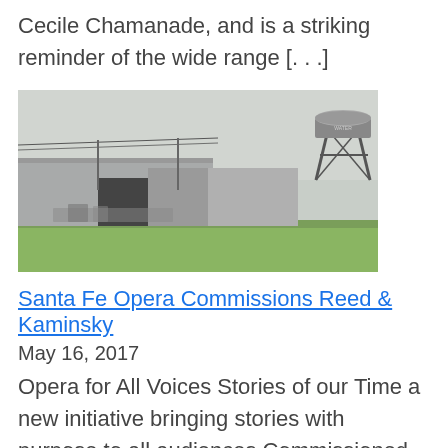Cecile Chamanade, and is a striking reminder of the wide range [. . .]
[Figure (photo): Outdoor industrial scene with a water tower, warehouse buildings, and green lawn in the foreground under an overcast sky.]
Santa Fe Opera Commissions Reed & Kaminsky
May 16, 2017
Opera for All Voices Stories of our Time a new initiative bringing stories with purpose to all audiences Commissioned by a consortium of companies led by Santa Fe Opera in association with San Francisco Opera: • lyric opera of kansas